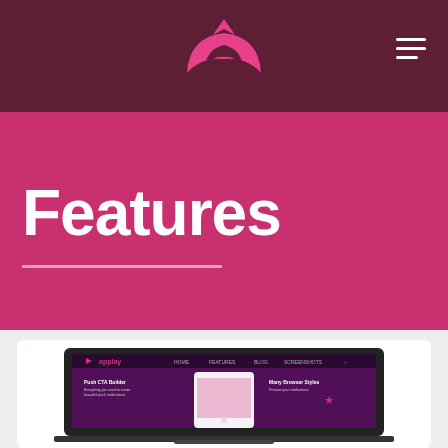[Figure (logo): Pink lotus/flower logo centered in dark maroon header with hamburger menu icon on the right]
Features
[Figure (screenshot): Laptop screenshot showing the Applay web application interface with dark background and UI elements]